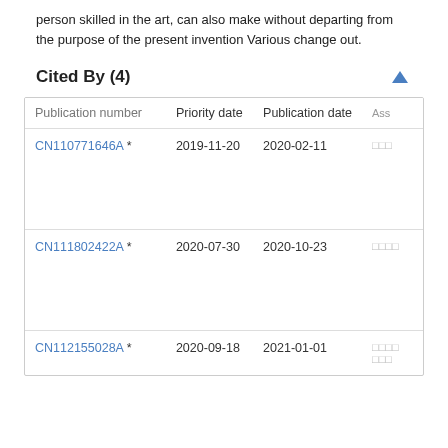person skilled in the art, can also make without departing from the purpose of the present invention Various change out.
Cited By (4)
| Publication number | Priority date | Publication date | Ass |
| --- | --- | --- | --- |
| CN110771646A * | 2019-11-20 | 2020-02-11 | □□□ |
| CN111802422A * | 2020-07-30 | 2020-10-23 | □□□□ |
| CN112155028A * | 2020-09-18 | 2021-01-01 | □□□□□□ |